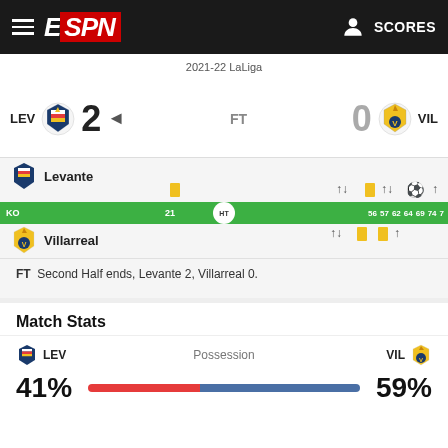ESPN — SCORES
2021-22 LaLiga
LEV 2 FT 0 VIL
Levante
[Figure (infographic): Match timeline bar showing KO, minute 21 yellow card, HT marker, and minutes 56, 57, 62, 64, 69, 74 with yellow cards and substitution arrows for both Levante and Villarreal]
Villarreal
FT Second Half ends, Levante 2, Villarreal 0.
Match Stats
LEV Possession VIL
41%  59%